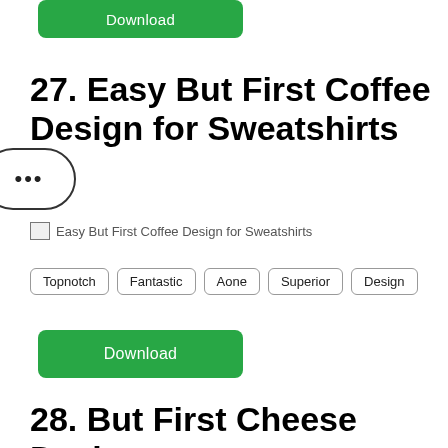[Figure (other): Green Download button (top, partial)]
27. Easy But First Coffee Design for Sweatshirts
[Figure (other): Ellipsis speech bubble icon on left edge]
[Figure (photo): Easy But First Coffee Design for Sweatshirts image placeholder]
Topnotch
Fantastic
Aone
Superior
Design
[Figure (other): Green Download button (middle)]
28. But First Cheese Design for T-Shirts